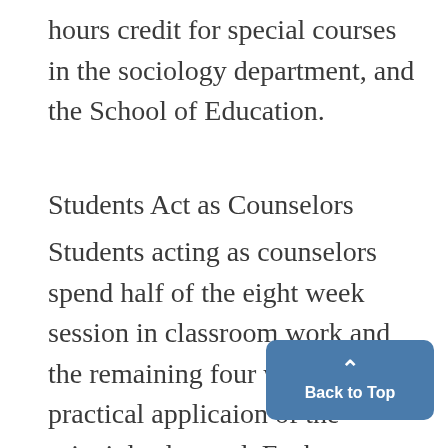hours credit for special courses in the sociology department, and the School of Education.
Students Act as Counselors
Students acting as counselors spend half of the eight week session in classroom work and the remaining four weeks in practical application of the principles learned, Each counselor acts as supervisor for a cabin group composed of eight to ten boys in the 9 to 13 age grou Located on Patterson Lake, 24